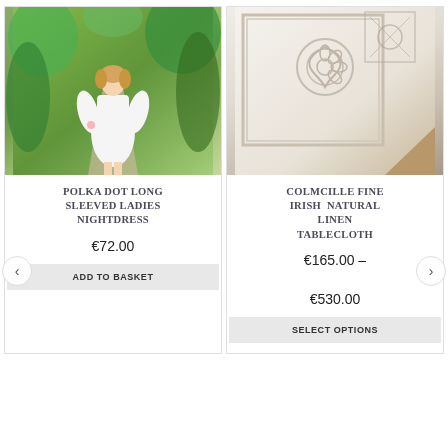[Figure (photo): Woman in white long-sleeved nightdress standing in a garden with lush green foliage]
POLKA DOT LONG SLEEVED LADIES NIGHTDRESS
€72.00
ADD TO BASKET
[Figure (photo): Close-up of white Irish natural linen tablecloth with Celtic knot pattern embossed on it, placed on a wooden surface]
COLMCILLE FINE IRISH  NATURAL LINEN TABLECLOTH
€165.00 – €530.00
SELECT OPTIONS